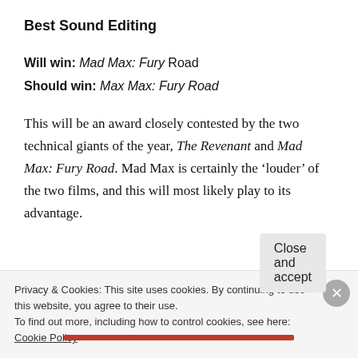Best Sound Editing
Will win: Mad Max: Fury Road
Should win: Max Max: Fury Road
This will be an award closely contested by the two technical giants of the year, The Revenant and Mad Max: Fury Road. Mad Max is certainly the ‘louder’ of the two films, and this will most likely play to its advantage.
[Figure (photo): Partial photo of a scene, appearing to show a person outdoors, cropped at bottom of visible area]
Privacy & Cookies: This site uses cookies. By continuing to use this website, you agree to their use.
To find out more, including how to control cookies, see here: Cookie Policy
Close and accept